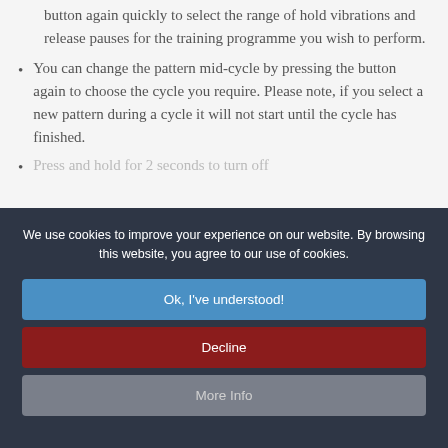button again quickly to select the range of hold vibrations and release pauses for the training programme you wish to perform.
You can change the pattern mid-cycle by pressing the button again to choose the cycle you require. Please note, if you select a new pattern during a cycle it will not start until the cycle has finished.
Press and hold for 2 seconds to turn off
We use cookies to improve your experience on our website. By browsing this website, you agree to our use of cookies.
Ok, I've understood!
Decline
More Info